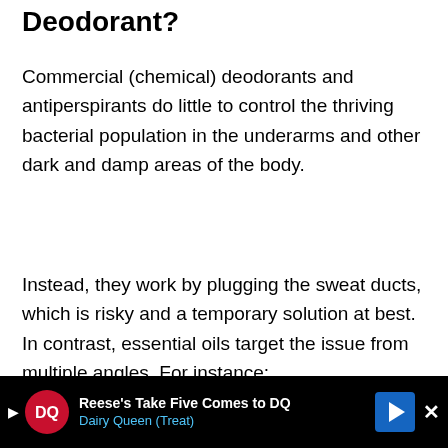Deodorant?
Commercial (chemical) deodorants and antiperspirants do little to control the thriving bacterial population in the underarms and other dark and damp areas of the body.
Instead, they work by plugging the sweat ducts, which is risky and a temporary solution at best. In contrast, essential oils target the issue from multiple angles. For instance:
They kill the bacteria that process the
[Figure (screenshot): Advertisement banner at the bottom of the page for Dairy Queen (DQ) promoting 'Reese's Take Five Comes to DQ', with DQ logo, blue navigation arrow icon, and a close (X) button on a black background.]